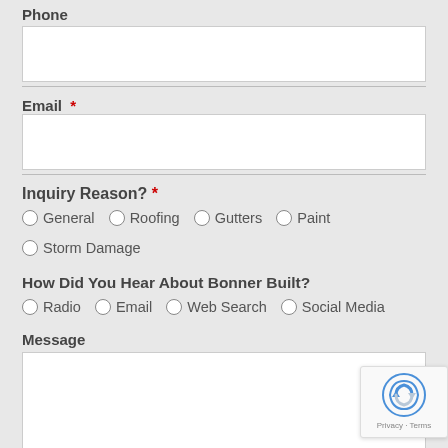Phone
[Figure (screenshot): Empty phone text input field]
Email *
[Figure (screenshot): Empty email text input field]
Inquiry Reason? *
General  Roofing  Gutters  Paint
Storm Damage
How Did You Hear About Bonner Built?
Radio  Email  Web Search  Social Media
Message
[Figure (screenshot): Empty message textarea]
SEND MESSAGE
[Figure (logo): reCAPTCHA badge with Privacy and Terms links]